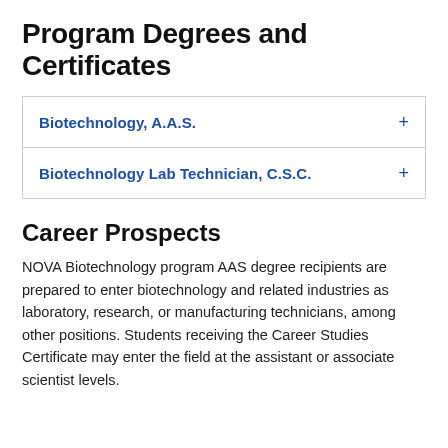Program Degrees and Certificates
Biotechnology, A.A.S. +
Biotechnology Lab Technician, C.S.C. +
Career Prospects
NOVA Biotechnology program AAS degree recipients are prepared to enter biotechnology and related industries as laboratory, research, or manufacturing technicians, among other positions. Students receiving the Career Studies Certificate may enter the field at the assistant or associate scientist levels.